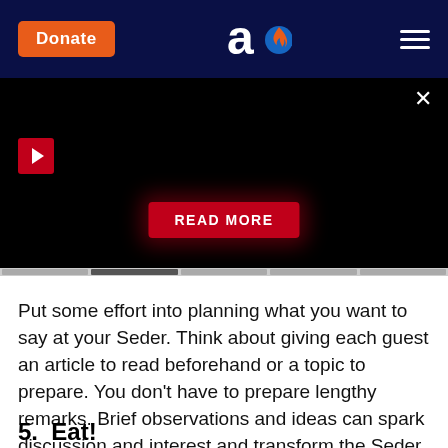[Figure (screenshot): Website header with dark navy background showing orange Donate button on the left, a logo (letter 'a' with flame icon) in the center, and a hamburger menu icon on the right.]
[Figure (screenshot): Black video embed area with a close X button top right, a red play button top left, a glowing red READ MORE button centered near the bottom, and a slider/tabs bar at the very bottom.]
Put some effort into planning what you want to say at your Seder. Think about giving each guest an article to read beforehand or a topic to prepare. You don't have to prepare lengthy remarks. Brief observations and ideas can spark discussion and interest and transform the Seder into something even more meaningful.
5.  Eat!